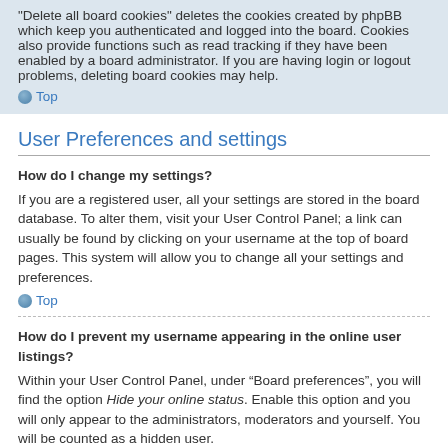"Delete all board cookies" deletes the cookies created by phpBB which keep you authenticated and logged into the board. Cookies also provide functions such as read tracking if they have been enabled by a board administrator. If you are having login or logout problems, deleting board cookies may help.
Top
User Preferences and settings
How do I change my settings?
If you are a registered user, all your settings are stored in the board database. To alter them, visit your User Control Panel; a link can usually be found by clicking on your username at the top of board pages. This system will allow you to change all your settings and preferences.
Top
How do I prevent my username appearing in the online user listings?
Within your User Control Panel, under “Board preferences”, you will find the option Hide your online status. Enable this option and you will only appear to the administrators, moderators and yourself. You will be counted as a hidden user.
Top
The times are not correct!
It is possible the time displayed is from a timezone different from the one you are in. If this is the case, visit your User Control Panel and change your timezone to match your particular area, e.g. London, Paris, New York, Sydney, etc. Please